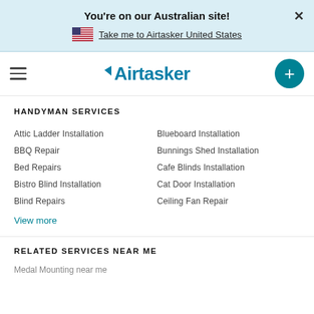You're on our Australian site!
Take me to Airtasker United States
Airtasker navigation bar
HANDYMAN SERVICES
Attic Ladder Installation
BBQ Repair
Bed Repairs
Bistro Blind Installation
Blind Repairs
Blueboard Installation
Bunnings Shed Installation
Cafe Blinds Installation
Cat Door Installation
Ceiling Fan Repair
View more
RELATED SERVICES NEAR ME
Medal Mounting near me